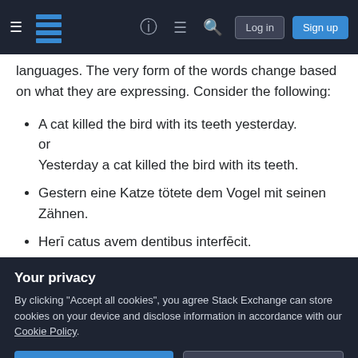Stack Exchange navigation bar with hamburger menu, logo, help, chat, search icons, Log in and Sign up buttons
languages. The very form of the words change based on what they are expressing. Consider the following:
A cat killed the bird with its teeth yesterday.
or
Yesterday a cat killed the bird with its teeth.
Gestern eine Katze tötete dem Vogel mit seinen Zähnen.
Herī catus avem dentibus interfēcit.
In English, if you change the position of cat and bird, you change the meaning of the sentence. In German and Latin,
Your privacy
By clicking "Accept all cookies", you agree Stack Exchange can store cookies on your device and disclose information in accordance with our Cookie Policy.
Accept all cookies  Customize settings
the sentence by its ending. For example, if a word ends in āas/